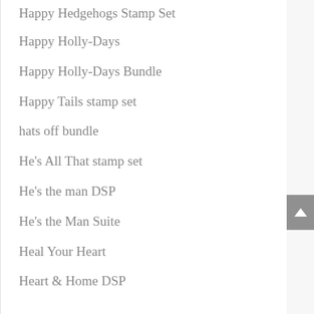Happy Hedgehogs Stamp Set
Happy Holly-Days
Happy Holly-Days Bundle
Happy Tails stamp set
hats off bundle
He's All That stamp set
He's the man DSP
He's the Man Suite
Heal Your Heart
Heart & Home DSP